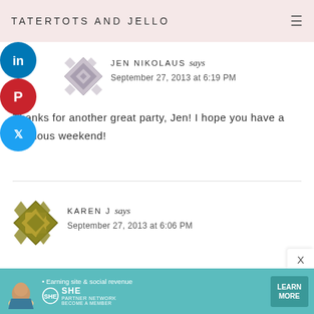TATERTOTS AND JELLO
[Figure (other): LinkedIn social share button (blue circle with 'in' icon)]
[Figure (other): Pinterest social share button (red circle with 'P' icon)]
[Figure (other): Twitter social share button (cyan circle with bird icon)]
[Figure (other): Jen Nikolaus avatar with decorative diamond/quilt pattern in grey]
JEN NIKOLAUS says
September 27, 2013 at 6:19 PM
Thanks for another great party, Jen! I hope you have a fabulous weekend!
[Figure (other): Karen J avatar with decorative diamond pattern in olive/gold]
KAREN J says
September 27, 2013 at 6:06 PM
[Figure (other): SHE Partner Network advertisement banner: Earning site & social revenue, Learn More button]